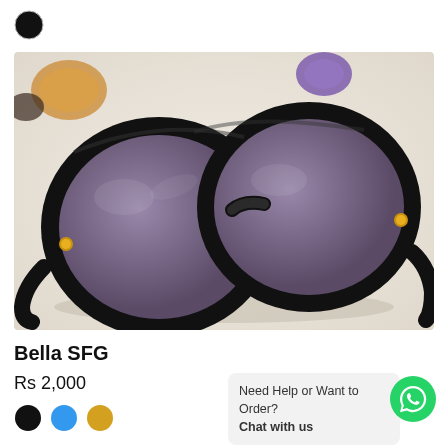[Figure (photo): Small black circular color swatch in top-left corner]
[Figure (photo): Photo of black round-frame sunglasses with gold accents, laid on a light surface with decorative stones in background]
Bella SFG
Rs 2,000
[Figure (other): Three color swatches: black, blue, and gold/yellow]
Need Help or Want to Order? Chat with us
[Figure (logo): WhatsApp logo green circle button]